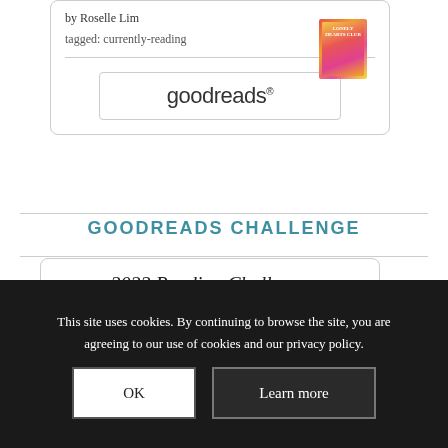by Roselle Lim
tagged: currently-reading
[Figure (logo): Goodreads logo in a rounded rectangle border]
GOODREADS CHALLENGE
[Figure (screenshot): 2022 Reading Challenge card with orange badge showing '2022 READING CHALLENGE', text 'Suzanne (The Bookish Libra) has completed her goal of reading 150 books in 2022!' and a progress bar showing 150 of 150 (100%)]
This site uses cookies. By continuing to browse the site, you are agreeing to our use of cookies and our privacy policy.
OK
Learn more